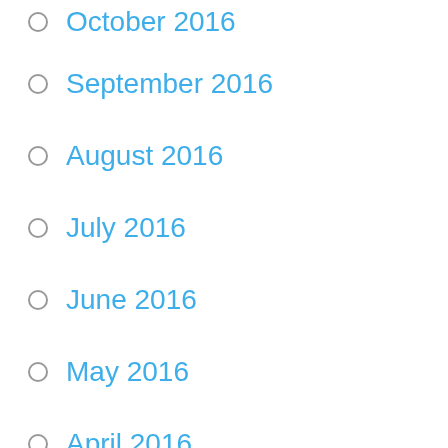October 2016
September 2016
August 2016
July 2016
June 2016
May 2016
April 2016
March 2016
February 2016
January 2016
December 2015
November 2015
October 2015
September 2015
August 2015
July 2015